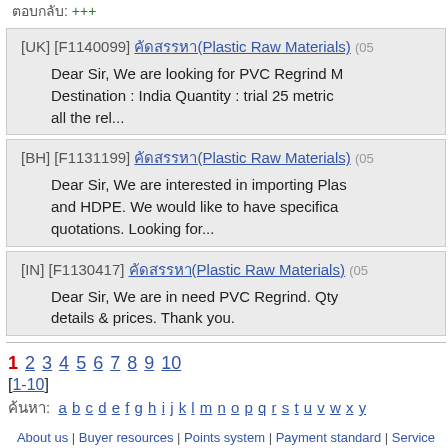ตอบกลับ: +++
[UK] [F1140099] ????????(Plastic Raw Materials) (05...)
Dear Sir, We are looking for PVC Regrind M Destination : India Quantity : trial 25 metric all the rel...
[BH] [F1131199] ????????(Plastic Raw Materials) (05...)
Dear Sir, We are interested in importing Plas and HDPE. We would like to have specifica quotations. Looking for...
[IN] [F1130417] ????????(Plastic Raw Materials) (05...)
Dear Sir, We are in need PVC Regrind. Qty details & prices. Thank you.
1 2 3 4 5 6 7 8 9 10
[1-10]
ค้นหา: a b c d e f g h i j k l m n o p q r s t u v w x y
About us | Buyer resources | Points system | Payment standard | Service adv...